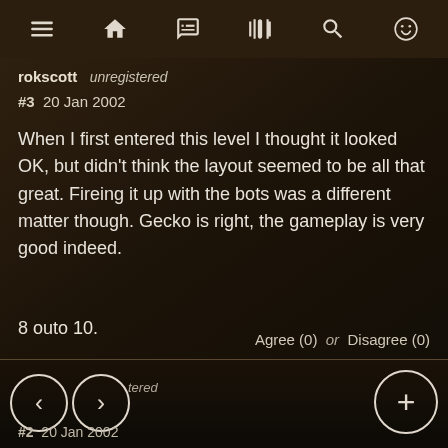Navigation bar with menu, home, chat, vibrate, search, emoji icons
rokscott   unregistered
#3  20 Jan 2002
When I first entered this level I thought it looked OK, but didn't think the layout seemed to be all that great. Fireing it up with the bots was a different matter though. Gecko is right, the gameplay is very good indeed.
8 outo 10.
Agree (0)  or  Disagree (0)
< >  tered  #2  20 Jan 2002  +